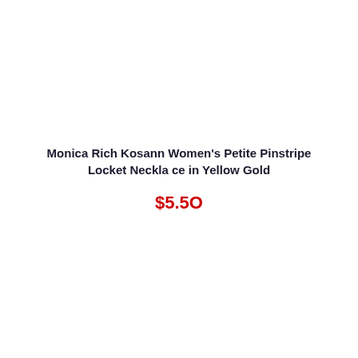Monica Rich Kosann Women's Petite Pinstripe Locket Necklace in Yellow Gold
$5.50